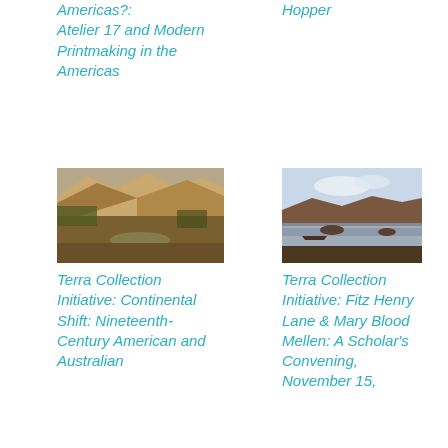Americas?: Atelier 17 and Modern Printmaking in the Americas
Hopper
[Figure (photo): Landscape painting showing a river valley with golden-brown mountains in the background and trees along the water, in warm earthy tones.]
Terra Collection Initiative: Continental Shift: Nineteenth-Century American and Australian
[Figure (photo): Landscape painting showing a calm coastal or lake scene with low hills, a small boat, and reflected light on still water under a pale sky.]
Terra Collection Initiative: Fitz Henry Lane & Mary Blood Mellen: A Scholar's Convening, November 15,